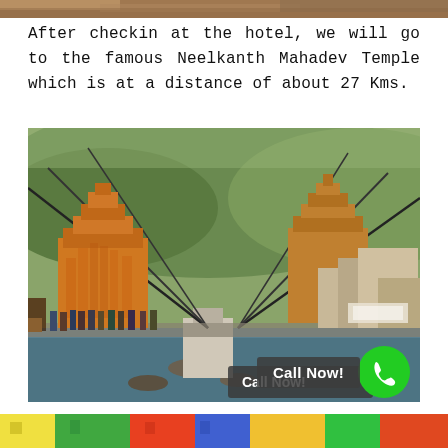[Figure (photo): Top strip — partial image of a scene, cropped at top of page]
After checkin at the hotel, we will go to the famous Neelkanth Mahadev Temple which is at a distance of about 27 Kms.
[Figure (photo): Photo of Laxman Jhula suspension bridge over the Ganges river in Rishikesh, India, with temple structures on both banks and people walking across the bridge, surrounded by forested hills. A 'Call Now!' button overlay appears at bottom right.]
[Figure (photo): Bottom strip — partial image of colorful buildings, cropped at bottom of page]